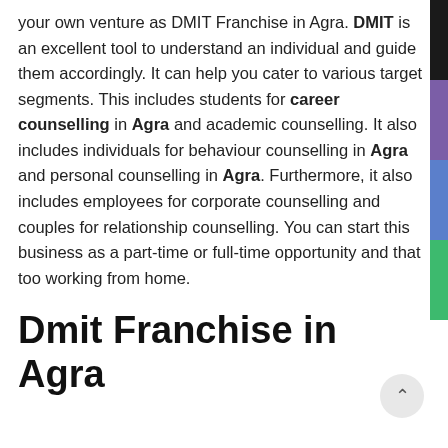your own venture as DMIT Franchise in Agra. DMIT is an excellent tool to understand an individual and guide them accordingly. It can help you cater to various target segments. This includes students for career counselling in Agra and academic counselling. It also includes individuals for behaviour counselling in Agra and personal counselling in Agra. Furthermore, it also includes employees for corporate counselling and couples for relationship counselling. You can start this business as a part-time or full-time opportunity and that too working from home.
Dmit Franchise in Agra